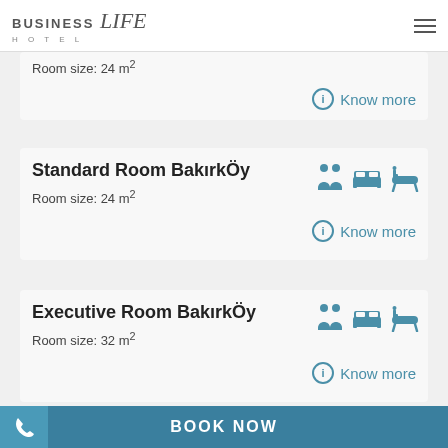Business Life Hotel
Room size: 24 m²
Know more
Standard Room Bakırköy
Room size: 24 m²
Know more
Executive Room Bakırköy
Room size: 32 m²
Know more
BOOK NOW